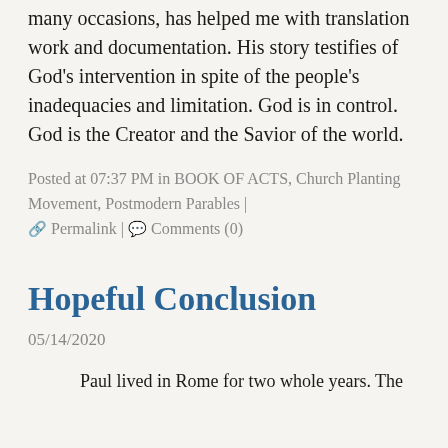many occasions, has helped me with translation work and documentation. His story testifies of God's intervention in spite of the people's inadequacies and limitation. God is in control. God is the Creator and the Savior of the world.
Posted at 07:37 PM in BOOK OF ACTS, Church Planting Movement, Postmodern Parables | 🔗 Permalink | 💬 Comments (0)
Hopeful Conclusion
05/14/2020
Paul lived in Rome for two whole years. The